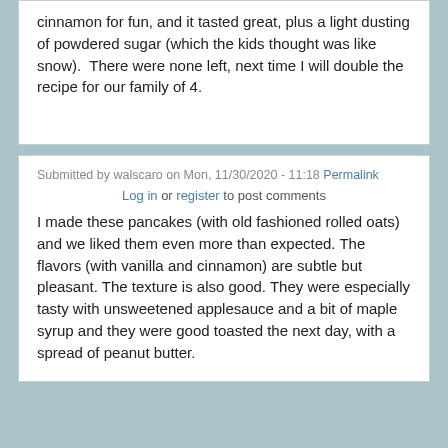cinnamon for fun, and it tasted great, plus a light dusting of powdered sugar (which the kids thought was like snow).  There were none left, next time I will double the recipe for our family of 4.
Submitted by walscaro on Mon, 11/30/2020 - 11:18 Permalink
Log in or register to post comments
I made these pancakes (with old fashioned rolled oats) and we liked them even more than expected. The flavors (with vanilla and cinnamon) are subtle but pleasant. The texture is also good. They were especially tasty with unsweetened applesauce and a bit of maple syrup and they were good toasted the next day, with a spread of peanut butter.